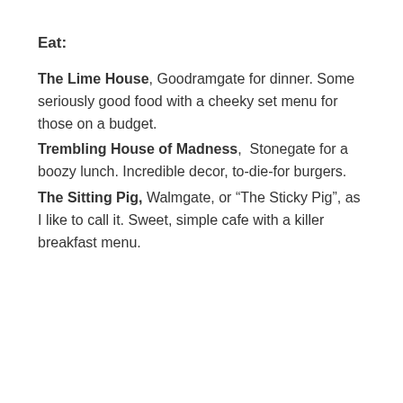Eat:
The Lime House, Goodramgate for dinner. Some seriously good food with a cheeky set menu for those on a budget.
Trembling House of Madness, Stonegate for a boozy lunch. Incredible decor, to-die-for burgers.
The Sitting Pig, Walmgate, or “The Sticky Pig”, as I like to call it. Sweet, simple cafe with a killer breakfast menu.